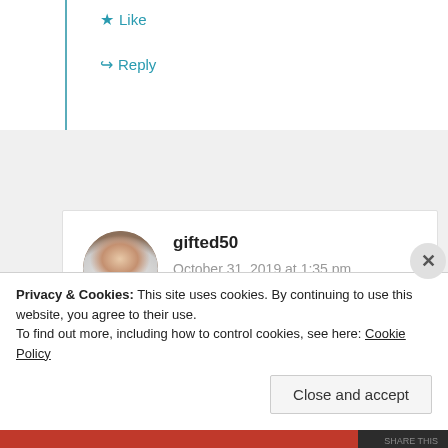Like
Reply
gifted50
October 31, 2019 at 1:35 pm
Yes there are a lot of things in our time that the
Privacy & Cookies: This site uses cookies. By continuing to use this website, you agree to their use.
To find out more, including how to control cookies, see here: Cookie Policy
Close and accept